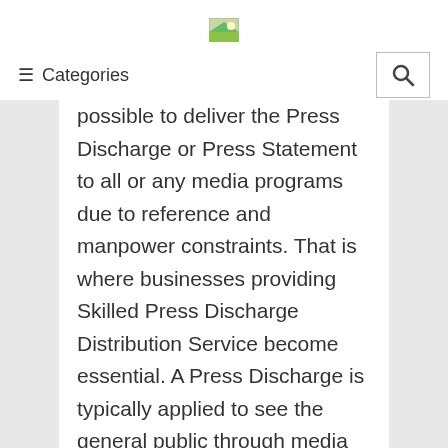[Figure (logo): Small green landscape/image logo icon at top center]
≡ Categories  [search button]
possible to deliver the Press Discharge or Press Statement to all or any media programs due to reference and manpower constraints. That is where businesses providing Skilled Press Discharge Distribution Service become essential. A Press Discharge is typically applied to see the general public through media and print media of an occasion or matter, or data for the general public, which issues the company.